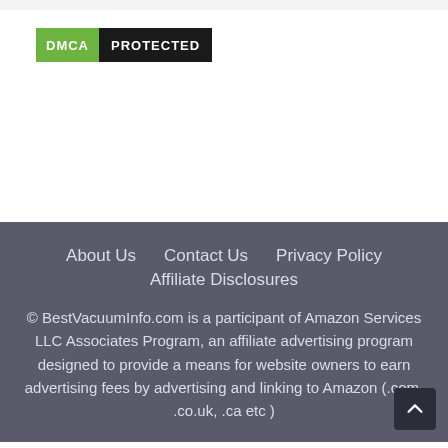[Figure (logo): DMCA PROTECTED badge with green left panel reading 'DMCA' and black right panel reading 'PROTECTED']
About Us   Contact Us   Privacy Policy
Affiliate Disclosures
© BestVacuumInfo.com is a participant of Amazon Services LLC Associates Program, an affiliate advertising program designed to provide a means for website owners to earn advertising fees by advertising and linking to Amazon (.com, .co.uk, .ca etc )